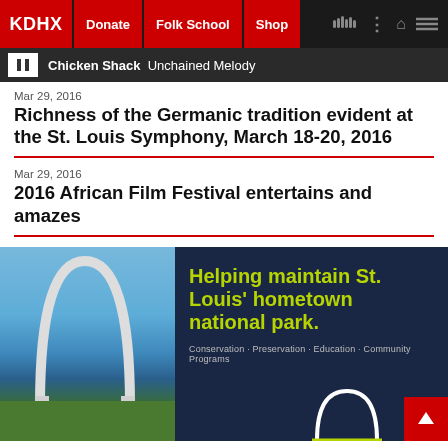KDHX | Donate | Folk School | Shop
Chicken Shack  Unchained Melody
Mar 29, 2016
Richness of the Germanic tradition evident at the St. Louis Symphony, March 18-20, 2016
Mar 29, 2016
2016 African Film Festival entertains and amazes
[Figure (photo): Advertisement banner showing the St. Louis Gateway Arch photo on the left and dark navy background on the right with yellow-green text: Helping maintain St. Louis' hometown national park. Conservation · Preservation · Education · Community Programs, with a white arch outline at bottom.]